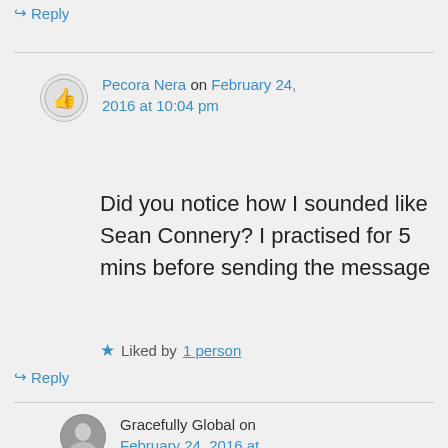↪ Reply
Pecora Nera on February 24, 2016 at 10:04 pm
Did you notice how I sounded like Sean Connery? I practised for 5 mins before sending the message
★ Liked by 1 person
↪ Reply
Gracefully Global on February 24, 2016 at 11:21 pm